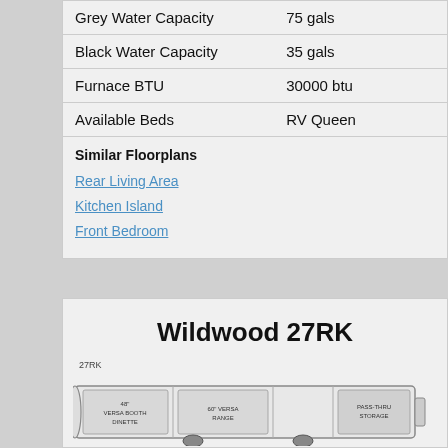| Feature | Value |
| --- | --- |
| Grey Water Capacity | 75 gals |
| Black Water Capacity | 35 gals |
| Furnace BTU | 30000 btu |
| Available Beds | RV Queen |
Similar Floorplans
Rear Living Area
Kitchen Island
Front Bedroom
Wildwood 27RK
[Figure (engineering-diagram): RV floorplan diagram for Wildwood 27RK model, showing layout with 48" Versa Booth Dinette, 60" Versa Range, and Pass-Thru Storage labels]